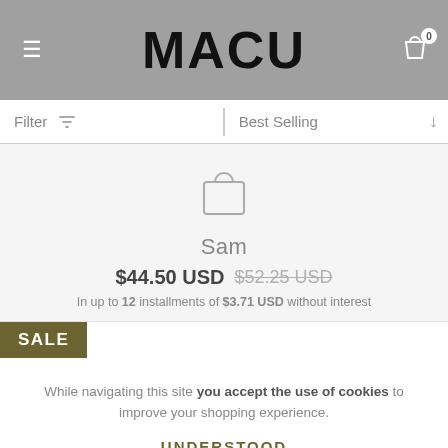MACU
Filter   Best Selling
[Figure (illustration): Shopping bag icon (outline)]
Sam
$44.50 USD  $52.25 USD
In up to 12 installments of $3.71 USD without interest
SALE
While navigating this site you accept the use of cookies to improve your shopping experience.
UNDERSTOOD